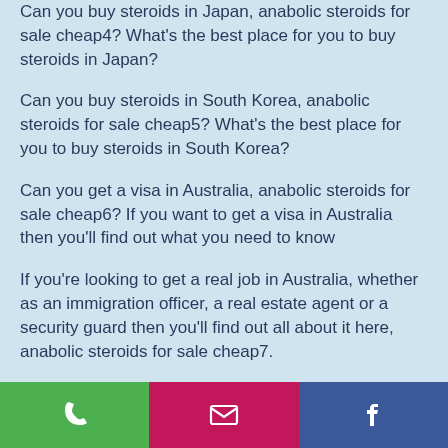Can you buy steroids in Japan, anabolic steroids for sale cheap4? What's the best place for you to buy steroids in Japan?
Can you buy steroids in South Korea, anabolic steroids for sale cheap5? What's the best place for you to buy steroids in South Korea?
Can you get a visa in Australia, anabolic steroids for sale cheap6? If you want to get a visa in Australia then you'll find out what you need to know
If you're looking to get a real job in Australia, whether as an immigration officer, a real estate agent or a security guard then you'll find out all about it here, anabolic steroids for sale cheap7.
[Figure (infographic): Footer bar with three buttons: green phone button, pink/magenta email button, blue Facebook button]